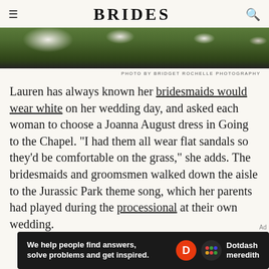BRIDES
[Figure (photo): Bottom portion of a photo showing bridesmaids in white dresses standing on grass, with lace and fabric details visible]
PHOTO BY BRIDGET ROCHELLE PHOTOGRAPHY
Lauren has always known her bridesmaids would wear white on her wedding day, and asked each woman to choose a Joanna August dress in Going to the Chapel. "I had them all wear flat sandals so they'd be comfortable on the grass," she adds. The bridesmaids and groomsmen walked down the aisle to the Jurassic Park theme song, which her parents had played during the processional at their own wedding.
Ad
[Figure (logo): Dotdash Meredith advertisement banner: 'We help people find answers, solve problems and get inspired.' with Dotdash Meredith logo]